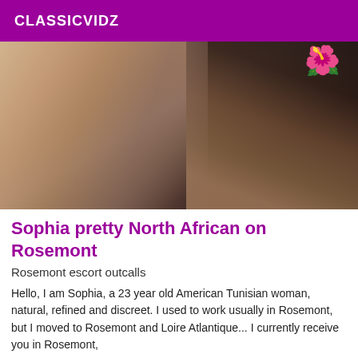CLASSICVIDZ
[Figure (photo): Photo of a woman in a beige/pink outfit, with flowers visible in the upper right, in an outdoor/indoor setting with warm lighting and decorative elements]
Sophia pretty North African on Rosemont
Rosemont escort outcalls
Hello, I am Sophia, a 23 year old American Tunisian woman, natural, refined and discreet. I used to work usually in Rosemont, but I moved to Rosemont and Loire Atlantique... I currently receive you in Rosemont,